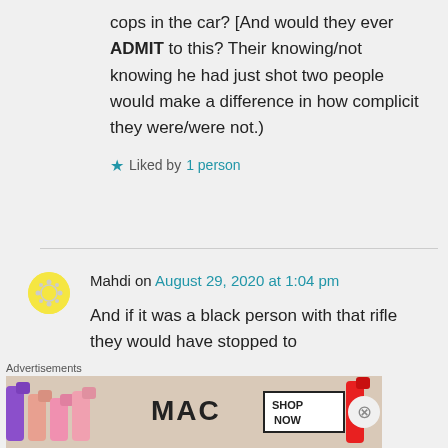cops in the car? [And would they ever ADMIT to this? Their knowing/not knowing he had just shot two people would make a difference in how complicit they were/were not.)
★ Liked by 1 person
Mahdi on August 29, 2020 at 1:04 pm
And if it was a black person with that rifle they would have stopped to
Advertisements